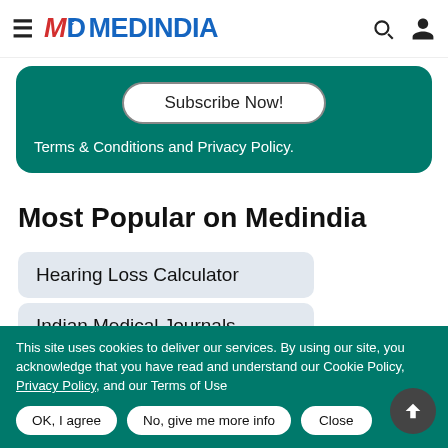MeD MEDINDIA
Subscribe Now!
Terms & Conditions and Privacy Policy.
Most Popular on Medindia
Hearing Loss Calculator
Indian Medical Journals
Selfie Addiction Calculator
This site uses cookies to deliver our services. By using our site, you acknowledge that you have read and understand our Cookie Policy, Privacy Policy, and our Terms of Use
OK, I agree | No, give me more info | Close